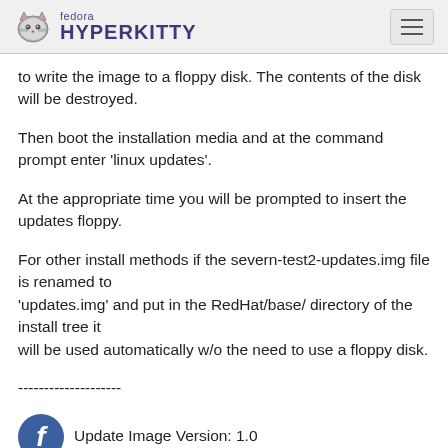fedora HYPERKITTY
to write the image to a floppy disk. The contents of the disk will be destroyed.
Then boot the installation media and at the command prompt enter 'linux updates'.
At the appropriate time you will be prompted to insert the updates floppy.
For other install methods if the severn-test2-updates.img file is renamed to 'updates.img' and put in the RedHat/base/ directory of the install tree it will be used automatically w/o the need to use a floppy disk.
--------------------
Update Image Version: 1.0